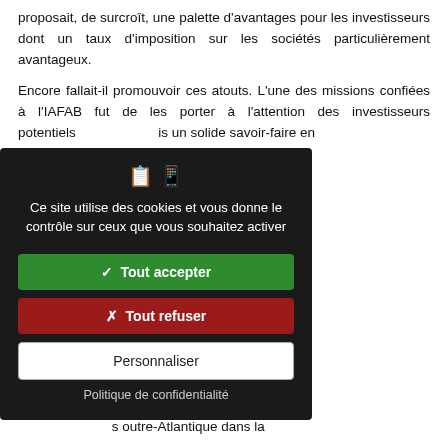proposait, de surcroît, une palette d'avantages pour les investisseurs dont un taux d'imposition sur les sociétés particulièrement avantageux.

Encore fallait-il promouvoir ces atouts. L'une des missions confiées à l'IAFAB fut de les porter à l'attention des investisseurs potentiels is un solide savoir-faire en dre le relais une fois que le transmis.

qui s'ensuivit, d'une ampleur ys, a fait couler beaucoup multinationales, américaines l'une des raisons majeures à ndais.

affaires a joué un rôle décisif bliquement fait mention des l'implanter en Irlande après is, Bertie Ahern [17] ne cacha avaient permis d'établir de s outre-Atlantique dans la
[Figure (other): Cookie consent modal dialog with dark background. Contains icons, text 'Ce site utilise des cookies et vous donne le contrôle sur ceux que vous souhaitez activer', a green 'Tout accepter' button, a red 'Tout refuser' button, a white 'Personnaliser' button, and a 'Politique de confidentialité' link.]